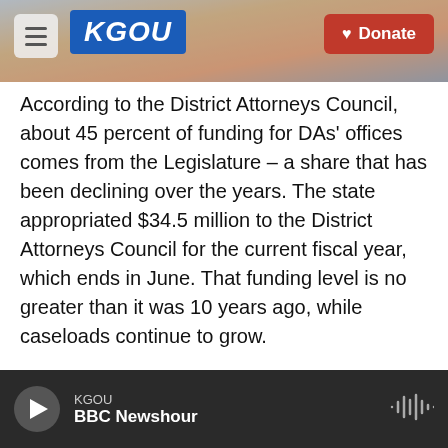KGOU — Donate
According to the District Attorneys Council, about 45 percent of funding for DAs' offices comes from the Legislature – a share that has been declining over the years. The state appropriated $34.5 million to the District Attorneys Council for the current fiscal year, which ends in June. That funding level is no greater than it was 10 years ago, while caseloads continue to grow.
Faced with less money and more work, prosecutors have sought new ways to fund their offices. And the Legislature has been willing to assist.
In 2016, HB 3146 required drunk driving cases to be
KGOU — BBC Newshour